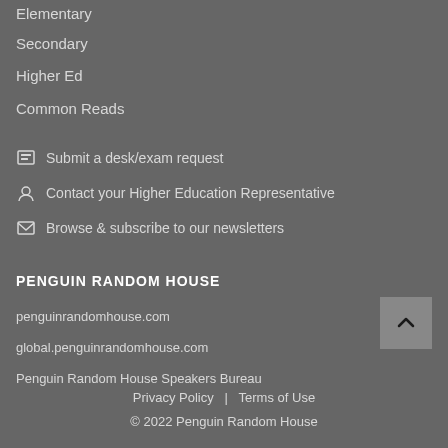Elementary
Secondary
Higher Ed
Common Reads
Submit a desk/exam request
Contact your Higher Education Representative
Browse & subscribe to our newsletters
PENGUIN RANDOM HOUSE
penguinrandomhouse.com
global.penguinrandomhouse.com
Penguin Random House Speakers Bureau
Privacy Policy  |  Terms of Use
© 2022 Penguin Random House